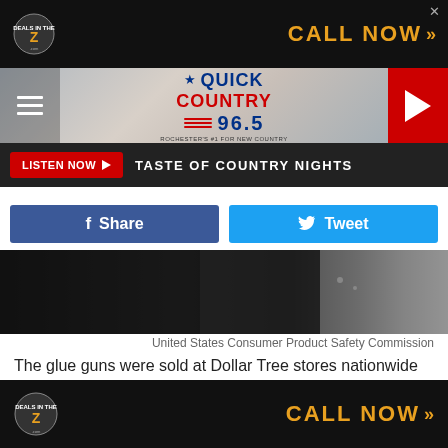[Figure (screenshot): Deals In The Z advertisement banner with logo and CALL NOW text]
[Figure (logo): Quick Country 96.5 radio station header with hamburger menu and play button]
LISTEN NOW ▶  TASTE OF COUNTRY NIGHTS
[Figure (infographic): Facebook Share and Twitter Tweet social media buttons]
[Figure (photo): Dark textured background image strip]
United States Consumer Product Safety Commission
The glue guns were sold at Dollar Tree stores nationwide from August 2020 through February 2022 and Family Dollar stores nationwide from January 2022 through February 2022 and online at www.dollartree.com from August 2021 through
[Figure (screenshot): Deals In The Z advertisement banner with logo and CALL NOW text (bottom)]